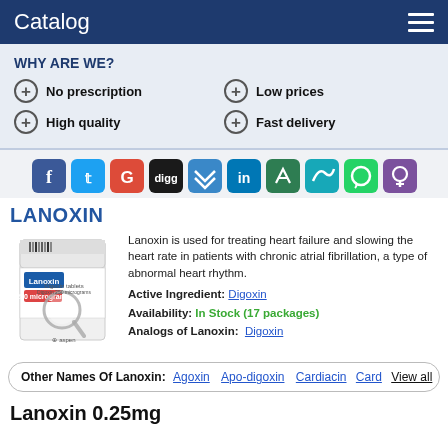Catalog
WHY ARE WE?
No prescription
Low prices
High quality
Fast delivery
[Figure (infographic): Social media sharing icons row: Facebook, Twitter, Google+, Digg, Delicious, LinkedIn, a pen icon, Mixi/bird icon, WhatsApp, Viber]
LANOXIN
[Figure (photo): Photo of Lanoxin 250 micrograms medicine box with a magnifying glass overlay]
Lanoxin is used for treating heart failure and slowing the heart rate in patients with chronic atrial fibrillation, a type of abnormal heart rhythm.
Active Ingredient: Digoxin
Availability: In Stock (17 packages)
Analogs of Lanoxin: Digoxin
Other Names Of Lanoxin: Agoxin  Apo-digoxin  Cardiacin  Card  View all
Lanoxin 0.25mg